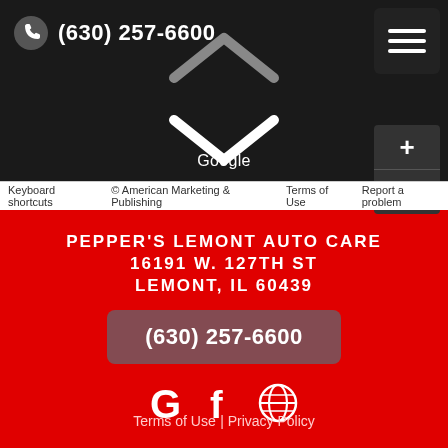[Figure (screenshot): Google Maps screenshot showing dark map view with navigation chevrons and zoom controls]
(630) 257-6600
Keyboard shortcuts  © American Marketing & Publishing  Terms of Use  Report a problem
PEPPER'S LEMONT AUTO CARE
16191 W. 127TH ST
LEMONT, IL 60439
(630) 257-6600
[Figure (logo): Google G icon, Facebook f icon, Globe/website icon in white]
Terms of Use | Privacy Policy